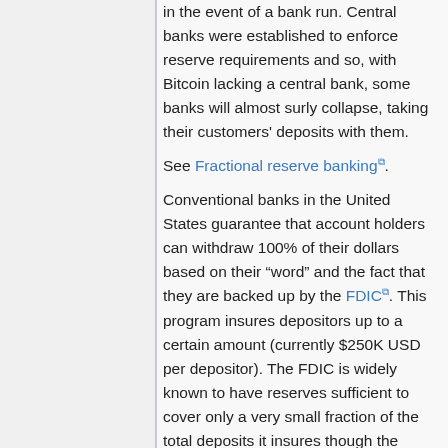in the event of a bank run. Central banks were established to enforce reserve requirements and so, with Bitcoin lacking a central bank, some banks will almost surly collapse, taking their customers' deposits with them.
See Fractional reserve banking.
Conventional banks in the United States guarantee that account holders can withdraw 100% of their dollars based on their "word" and the fact that they are backed up by the FDIC. This program insures depositors up to a certain amount (currently $250K USD per depositor). The FDIC is widely known to have reserves sufficient to cover only a very small fraction of the total deposits it insures though the FDIC itself can be considered to be backed up by the US Congress in the event of its insolvency.